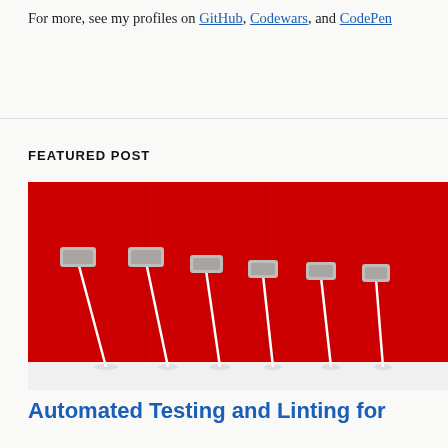For more, see my profiles on GitHub, Codewars, and CodePen
FEATURED POST
[Figure (photo): Multiple mops with grey heads and white handles standing upright against a bright red background, arranged in a row on a white floor]
Automated Testing and Linting for Python Projects